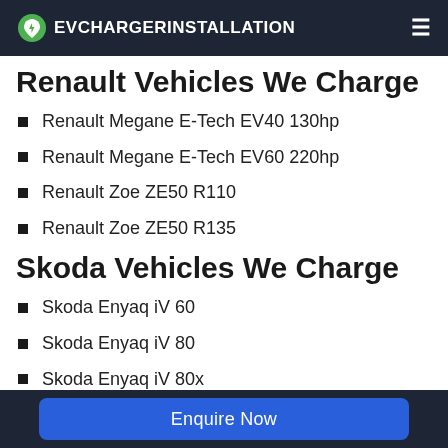EVCHARGERINSTALLATION
Renault Vehicles We Charge
Renault Megane E-Tech EV40 130hp
Renault Megane E-Tech EV60 220hp
Renault Zoe ZE50 R110
Renault Zoe ZE50 R135
Skoda Vehicles We Charge
Skoda Enyaq iV 60
Skoda Enyaq iV 80
Skoda Enyaq iV 80x
Skoda Enyaq iV RS
Enquire Now